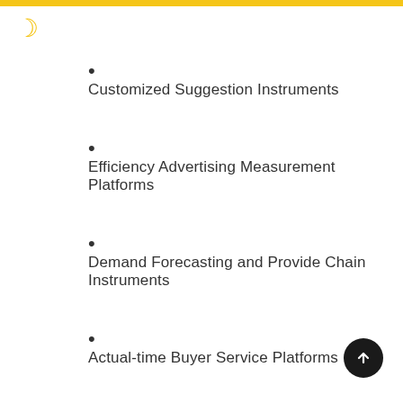Customized Suggestion Instruments
Efficiency Advertising Measurement Platforms
Demand Forecasting and Provide Chain Instruments
Actual-time Buyer Service Platforms